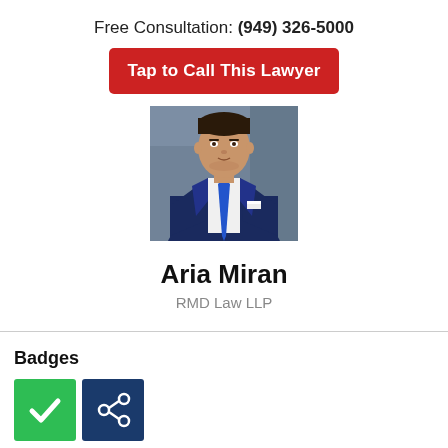Free Consultation: (949) 326-5000
Tap to Call This Lawyer
[Figure (photo): Professional headshot of lawyer Aria Miran in a blue suit and blue tie against a blurred background]
Aria Miran
RMD Law LLP
Badges
[Figure (illustration): Two badge icons: a green badge with a white checkmark and a navy blue badge with a white share/network icon]